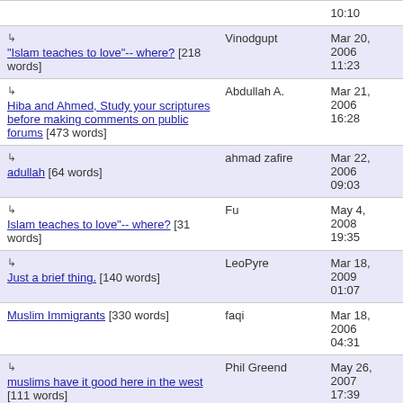| Title | Author | Date |
| --- | --- | --- |
| ↳ "Islam teaches to love"-- where? [218 words] | Vinodgupt | Mar 20, 2006 11:23 |
| ↳ Hiba and Ahmed, Study your scriptures before making comments on public forums [473 words] | Abdullah A. | Mar 21, 2006 16:28 |
| ↳ adullah [64 words] | ahmad zafire | Mar 22, 2006 09:03 |
| ↳ Islam teaches to love"-- where? [31 words] | Fu | May 4, 2008 19:35 |
| ↳ Just a brief thing. [140 words] | LeoPyre | Mar 18, 2009 01:07 |
| Muslim Immigrants [330 words] | faqi | Mar 18, 2006 04:31 |
| ↳ muslims have it good here in the west [111 words] | Phil Greend | May 26, 2007 17:39 |
| Bow down to Allah or be knocked down - why an SUV | Ben van de Polder | Mar 17, 2006 |